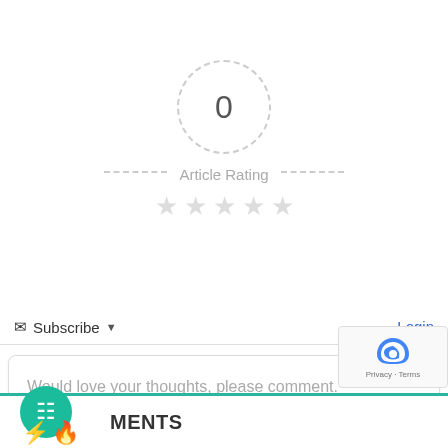[Figure (infographic): Article rating widget showing a dashed circle with '0' in the center, dashed lines on each side, 'Article Rating' label, and 5 empty grey stars below]
Subscribe ▾
Login
Would love your thoughts, please comment.
COMMENTS
[Figure (logo): reCAPTCHA badge with Privacy and Terms links]